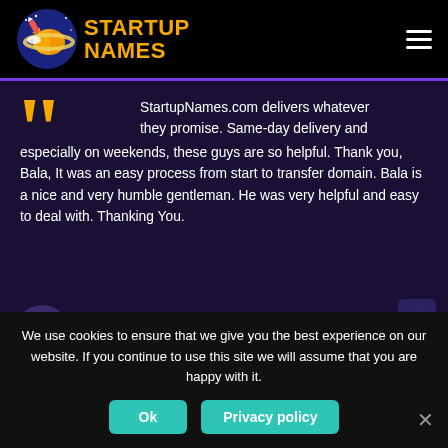[Figure (logo): Startup Names logo with planet/rocket graphic and orange bold text reading STARTUP NAMES]
StartupNames.com delivers whatever they promise. Same-day delivery and especially on weekends, these guys are so helpful. Thank you, Bala, It was an easy process from start to transfer domain. Bala is a nice and very humble gentleman. He was very helpful and easy to deal with. Thanking You.
TotalSolar.com.au
We use cookies to ensure that we give you the best experience on our website. If you continue to use this site we will assume that you are happy with it.